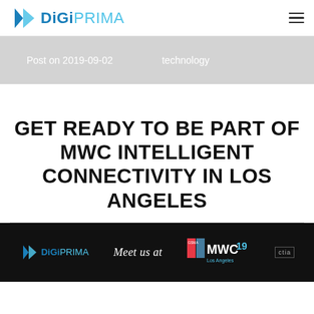DiGi PRIMA
Post on 2019-09-02    technology
GET READY TO BE PART OF MWC INTELLIGENT CONNECTIVITY IN LOS ANGELES
[Figure (photo): DiGi Prima banner showing Meet us at MWC 19 Los Angeles with CTIA logo on dark background]